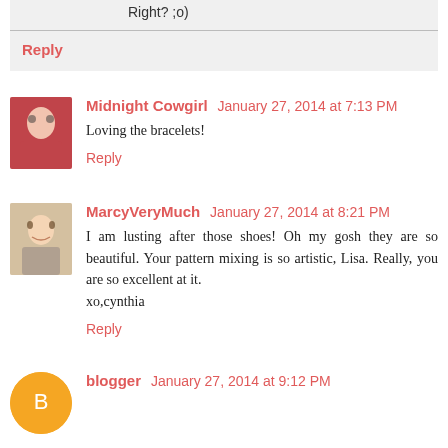Right? ;o)
Reply
Midnight Cowgirl  January 27, 2014 at 7:13 PM
Loving the bracelets!
Reply
MarcyVeryMuch  January 27, 2014 at 8:21 PM
I am lusting after those shoes! Oh my gosh they are so beautiful. Your pattern mixing is so artistic, Lisa. Really, you are so excellent at it.
xo,cynthia
Reply
blogger  January 27, 2014 at 9:12 PM